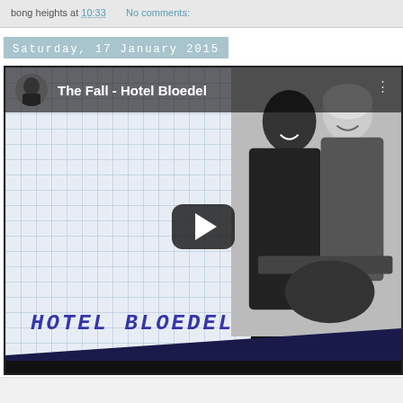bong heights at 10:33    No comments:
Saturday, 17 January 2015
[Figure (screenshot): YouTube video embed showing 'The Fall - Hotel Bloedel'. Left side shows grid paper background with 'HOTEL BLOEDEL' handwritten in blue marker. Right side shows a black and white photo of two people, one playing guitar. A YouTube play button is overlaid in the center. The YouTube top bar shows a small avatar thumbnail and the title text.]